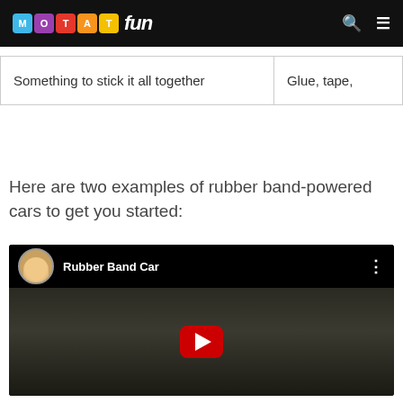MOTAT fun
| Something to stick it all together | Glue, tape, |
Here are two examples of rubber band-powered cars to get you started:
[Figure (screenshot): YouTube video thumbnail showing 'Rubber Band Car' with a woman presenter avatar, dark background with a gravel/road scene, and a red YouTube play button in the center.]